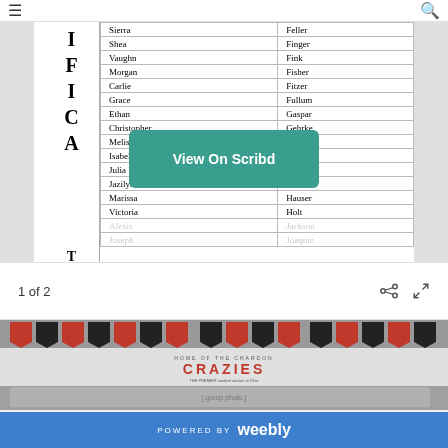| First Name | Last Name |
| --- | --- |
| Sierra | Feller |
| Shea | Finger |
| Vaughn | Fink |
| Morgan | Fisher |
| Carlie | Fitzer |
| Grace | Fullum |
| Ethan | Gaspar |
| Christopher | Gehrke |
| Melissa | Gideon |
| Isabella | Glauser |
| Julia | Gray |
| Jazilyn | Griffin |
| Marissa | Hauser |
| Victoria | Holt |
| Alexis | Jackson |
| Joseph | Joaquin |
View On Scribd
1 of 2
[Figure (photo): Group photo of students in a gymnasium with red and black banner decorations on the wall. Sign reads HOME OF THE CHARDON CRAZIES THE PREMIER student section in Ohio.]
POWERED BY weebly